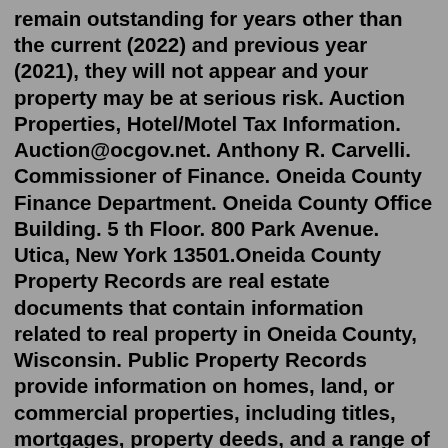remain outstanding for years other than the current (2022) and previous year (2021), they will not appear and your property may be at serious risk. Auction Properties, Hotel/Motel Tax Information. Auction@ocgov.net. Anthony R. Carvelli. Commissioner of Finance. Oneida County Finance Department. Oneida County Office Building. 5 th Floor. 800 Park Avenue. Utica, New York 13501.Oneida County Property Records are real estate documents that contain information related to real property in Oneida County, Wisconsin. Public Property Records provide information on homes, land, or commercial properties, including titles, mortgages, property deeds, and a range of other documents. Onondaga County GIS Web Application. The maps and tabular data presented in this Internet mapping application are developed from public records and various data sources including real property tax assessment records . Users of this mapping application should consult the original